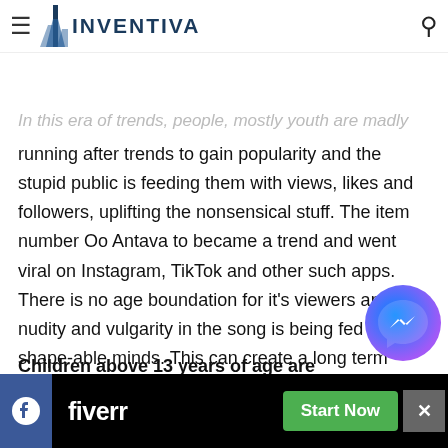INVENTIVA (logo + hamburger menu + search icon)
no one cares that children are being exposed to nudity...
In this era of trends, people, mostly youth are madly running after trends to gain popularity and the stupid public is feeding them with views, likes and followers, uplifting the nonsensical stuff. The item number Oo Antava to became a trend and went viral on Instagram, TikTok and other such apps. There is no age boundation for it's viewers and the nudity and vulgarity in the song is being fed to shape-able minds. This can create a long term impact on them and give them false ideas of human anatomy.
Children above 13 years of age are easily captivated by the obnoxious and ostentatious scenes